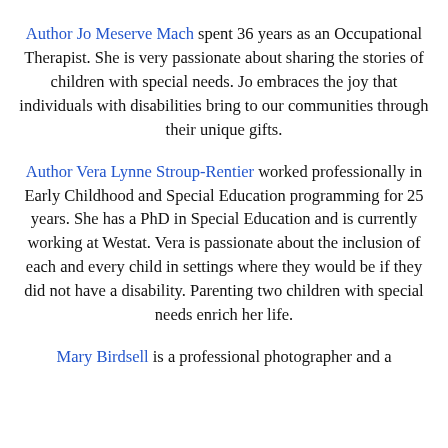Author Jo Meserve Mach spent 36 years as an Occupational Therapist. She is very passionate about sharing the stories of children with special needs. Jo embraces the joy that individuals with disabilities bring to our communities through their unique gifts.
Author Vera Lynne Stroup-Rentier worked professionally in Early Childhood and Special Education programming for 25 years. She has a PhD in Special Education and is currently working at Westat. Vera is passionate about the inclusion of each and every child in settings where they would be if they did not have a disability. Parenting two children with special needs enrich her life.
Mary Birdsell is a professional photographer and a